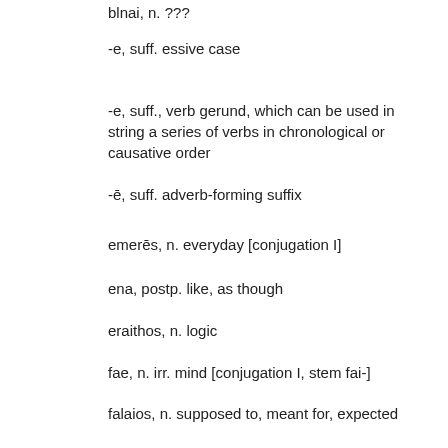blnai, n. ???
-e, suff. essive case
-e, suff., verb gerund, which can be used in string a series of verbs in chronological or causative order
-ē, suff. adverb-forming suffix
emerēs, n. everyday [conjugation I]
ena, postp. like, as though
eraithos, n. logic
fae, n. irr. mind [conjugation I, stem fai-]
falaios, n. supposed to, meant for, expected [declines for all declensions]
fāvrinai, v. fake, forged
fienai, v. to hope